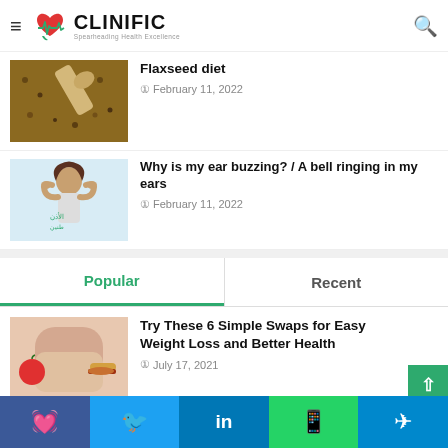CLINIFIC — Spearheading Health Excellence
Flaxseed diet
February 11, 2022
Why is my ear buzzing? / A bell ringing in my ears
February 11, 2022
Popular | Recent
Try These 6 Simple Swaps for Easy Weight Loss and Better Health
July 17, 2021